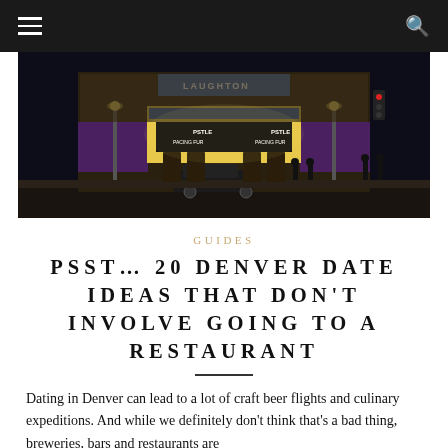[Figure (photo): Night photograph of a classic movie theater facade with illuminated marquee sign showing 'PSTLE' and other text, purple awning, street lamps, parked car, and people walking on sidewalk]
GUIDES
PSST… 20 DENVER DATE IDEAS THAT DON'T INVOLVE GOING TO A RESTAURANT
Dating in Denver can lead to a lot of craft beer flights and culinary expeditions. And while we definitely don't think that's a bad thing, breweries, bars and restaurants are